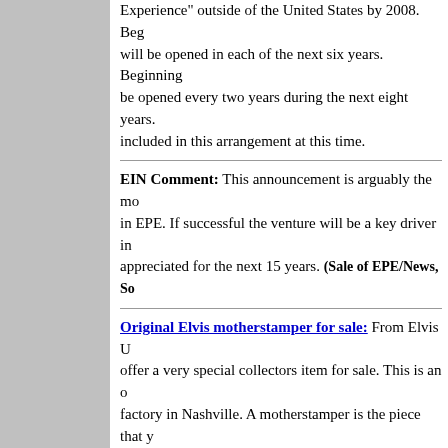Experience" outside of the United States by 2008. Beginning with new locations that will be opened in each of the next six years. Beginning be opened every two years during the next eight years. included in this arrangement at this time.
EIN Comment: This announcement is arguably the most significant news in EPE. If successful the venture will be a key driver in appreciated for the next 15 years. (Sale of EPE/News, So
Original Elvis motherstamper for sale: From Elvis U offer a very special collectors item for sale. This is an o factory in Nashville. A motherstamper is the piece that y it's a one of a kind and there is only one copy of this m be played on a record player, but it's very nice for frami Shook Up/That's When Your Heartaches Begin. Both s papersleeve. This is absolutely a rare one of a kind pie (News, Source: Elvis Unlimted)
Elvis 30 #1 Hits re-enters Billboard Album chart: On 'Elvis 30 #1 Hits' has re-entered the Billboard Top 200 A arguably have been hoping for a better showing, as at s particularly significant. On other Billboard charts, 'HitSt and the Top Country Albums chart at #60. 'Heartbreak H Singles Sales chart. (News, Source: Elvis International)
"Rigor mortis" issue stirs debate: A number of peop mortis' issue as added yesterday to our article on the B responses to the article and we'll leave it to readers to